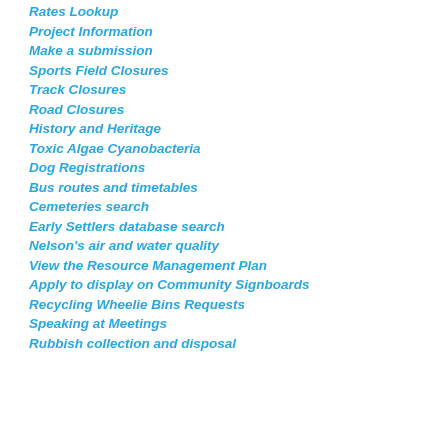Rates Lookup
Project Information
Make a submission
Sports Field Closures
Track Closures
Road Closures
History and Heritage
Toxic Algae Cyanobacteria
Dog Registrations
Bus routes and timetables
Cemeteries search
Early Settlers database search
Nelson's air and water quality
View the Resource Management Plan
Apply to display on Community Signboards
Recycling Wheelie Bins Requests
Speaking at Meetings
Rubbish collection and disposal